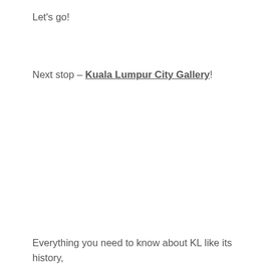Let's go!
Next stop – Kuala Lumpur City Gallery!
Everything you need to know about KL like its history, culture, top destinations, accommodation and tourist information